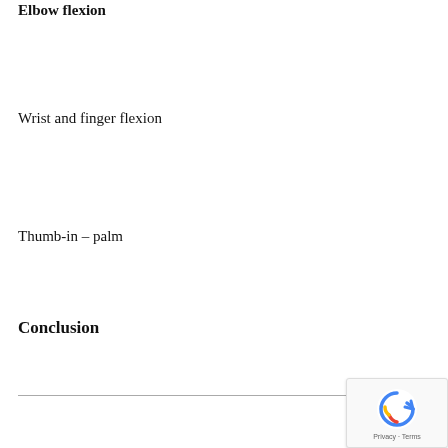Elbow flexion
Wrist and finger flexion
Thumb-in – palm
Conclusion